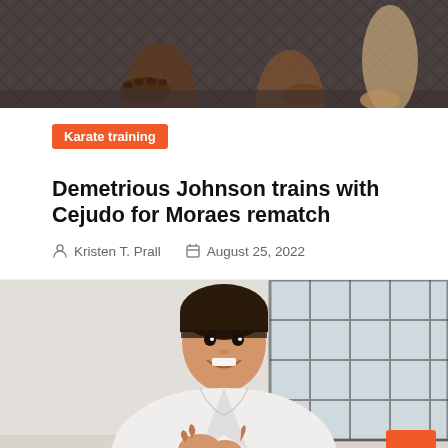[Figure (photo): Top portion of martial arts / MMA image showing feet and legs on a mat with chain-link fence background]
Karate training
Demetrious Johnson trains with Cejudo for Moraes rematch
Kristen T. Prall   August 25, 2022
[Figure (photo): Young girl in white karate gi smiling and performing a karate pose in a dojo with large grid windows in the background]